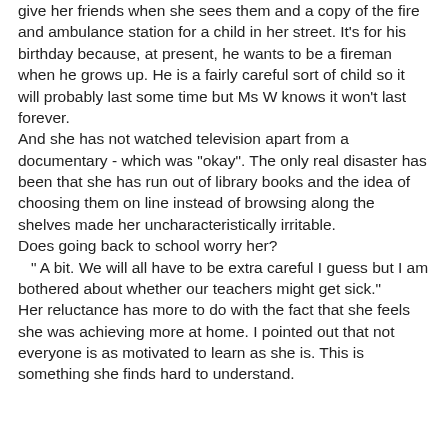give her friends when she sees them and a copy of the fire and ambulance station for a child in her street. It's for his birthday because, at present, he wants to be a fireman when he grows up. He is a fairly careful sort of child so it will probably last some time but Ms W knows it won't last forever.
And she has not watched television apart from a documentary - which was "okay". The only real disaster has been that she has run out of library books and the idea of choosing them on line instead of browsing along the shelves made her uncharacteristically irritable.
Does going back to school worry her?
   " A bit. We will all have to be extra careful I guess but I am bothered about whether our teachers might get sick."
Her reluctance has more to do with the fact that she feels she was achieving more at home. I pointed out that not everyone is as motivated to learn as she is. This is something she finds hard to understand.